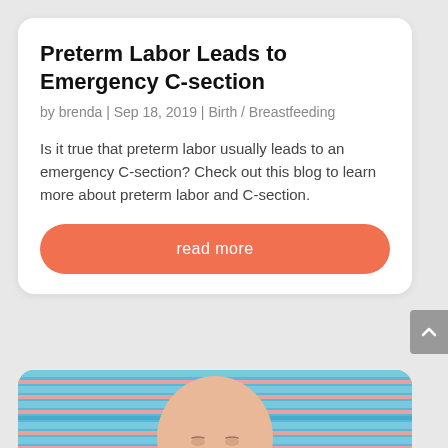Preterm Labor Leads to Emergency C-section
by brenda | Sep 18, 2019 | Birth / Breastfeeding
Is it true that preterm labor usually leads to an emergency C-section? Check out this blog to learn more about preterm labor and C-section.
read more
[Figure (photo): Close-up photo of a newborn baby with eyes closed, lying on a striped blue and pink blanket in a hospital setting]